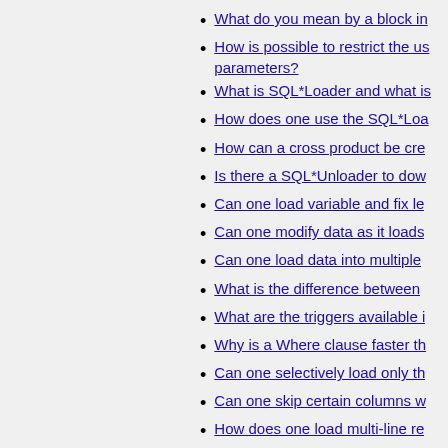What do you mean by a block in...
How is possible to restrict the us... parameters?
What is SQL*Loader and what is...
How does one use the SQL*Loa...
How can a cross product be cre...
Is there a SQL*Unloader to dow...
Can one load variable and fix le...
Can one modify data as it loads...
Can one load data into multiple...
What is the difference between...
What are the triggers available i...
Why is a Where clause faster th...
Can one selectively load only th...
Can one skip certain columns w...
How does one load multi-line re...